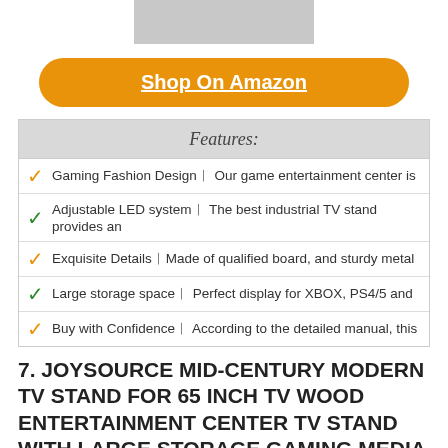[Figure (photo): Partial product image at top of page, cropped]
Shop On Amazon
| Features: |
| --- |
| Gaming Fashion Design│ Our game entertainment center is |
| Adjustable LED system│ The best industrial TV stand provides an |
| Exquisite Details│Made of qualified board, and sturdy metal |
| Large storage space│ Perfect display for XBOX, PS4/5 and |
| Buy with Confidence│ According to the detailed manual, this |
7. JOYSOURCE MID-CENTURY MODERN TV STAND FOR 65 INCH TV WOOD ENTERTAINMENT CENTER TV STAND WITH LARGE STORAGE GAMING MEDIA CONSOLE RUSTIC TV STAND FOR LIVING ROOM BEDROOM